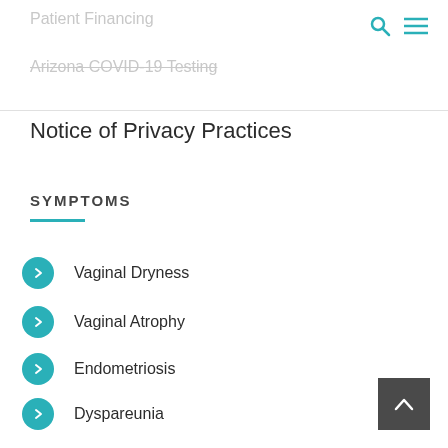Patient Financing
Arizona COVID-19 Testing
Notice of Privacy Practices
SYMPTOMS
Vaginal Dryness
Vaginal Atrophy
Endometriosis
Dyspareunia
Uterine Prolapse
Painful Sex